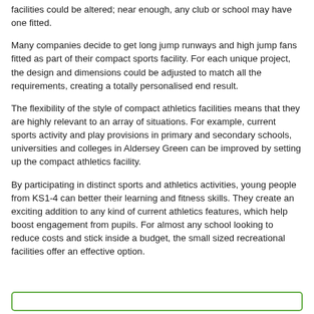facilities could be altered; near enough, any club or school may have one fitted.
Many companies decide to get long jump runways and high jump fans fitted as part of their compact sports facility. For each unique project, the design and dimensions could be adjusted to match all the requirements, creating a totally personalised end result.
The flexibility of the style of compact athletics facilities means that they are highly relevant to an array of situations. For example, current sports activity and play provisions in primary and secondary schools, universities and colleges in Aldersey Green can be improved by setting up the compact athletics facility.
By participating in distinct sports and athletics activities, young people from KS1-4 can better their learning and fitness skills. They create an exciting addition to any kind of current athletics features, which help boost engagement from pupils. For almost any school looking to reduce costs and stick inside a budget, the small sized recreational facilities offer an effective option.
[Figure (other): Green-bordered box at the bottom of the page]